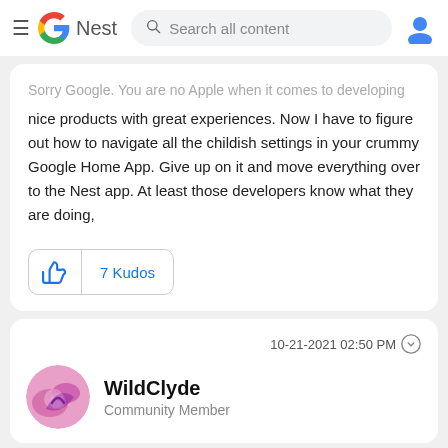Google Nest — Search all content
Sorry Google. You are no Apple when it comes to developing nice products with great experiences. Now I have to figure out how to navigate all the childish settings in your crummy Google Home App. Give up on it and move everything over to the Nest app. At least those developers know what they are doing,
7 Kudos
10-21-2021 02:50 PM
WildClyde
Community Member